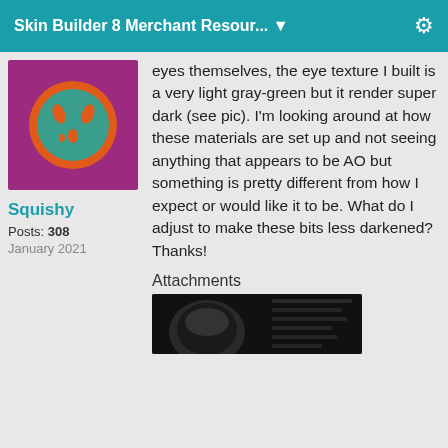Skin Builder 8 Merchant Resour... ▼
[Figure (illustration): Circular avatar with orange ring on teal/green background with small orange marks, on purple square background]
Squishy
Posts: 308
January 2021
eyes themselves, the eye texture I built is a very light gray-green but it render super dark (see pic). I'm looking around at how these materials are set up and not seeing anything that appears to be AO but something is pretty different from how I expect or would like it to be. What do I adjust to make these bits less darkened? Thanks!
Attachments
[Figure (screenshot): Dark screenshot showing a 3D render or software interface]